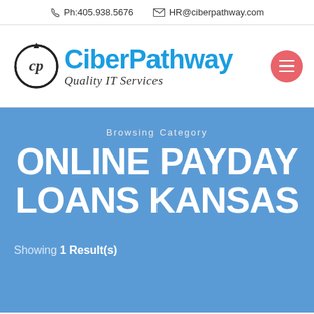Ph:405.938.5676   HR@ciberpathway.com
[Figure (logo): CiberPathway logo with circular arrow graphic and blue text 'CiberPathway' with italic 'Quality IT Services' subtitle]
Browsing Category
ONLINE PAYDAY LOANS KANSAS
Showing 1 Result(s)